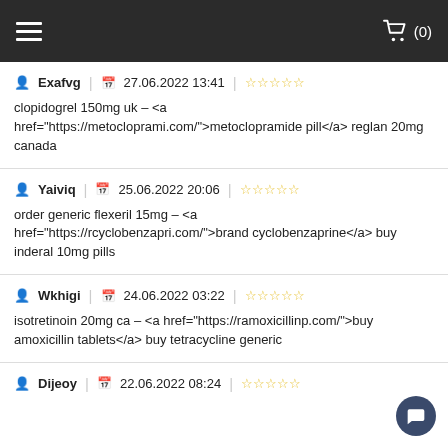Navigation bar with hamburger menu and cart (0)
Exafvg | 27.06.2022 13:41 | ☆☆☆☆☆
clopidogrel 150mg uk – <a href="https://metocloprami.com/">&gt;metoclopramide pill&lt;/a&gt; reglan 20mg canada
Yaiviq | 25.06.2022 20:06 | ☆☆☆☆☆
order generic flexeril 15mg – <a href="https://rcyclobenzapri.com/">&gt;brand cyclobenzaprine&lt;/a&gt; buy inderal 10mg pills
Wkhigi | 24.06.2022 03:22 | ☆☆☆☆☆
isotretinoin 20mg ca – <a href="https://ramoxicillinp.com/">&gt;buy amoxicillin tablets&lt;/a&gt; buy tetracycline generic
Dijeoy | 22.06.2022 08:24 | ☆☆☆☆☆